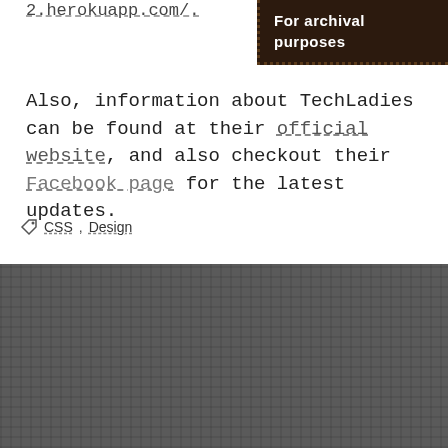2.herokuapp.com/.
For archival purposes
Also, information about TechLadies can be found at their official website, and also checkout their Facebook page for the latest updates.
CSS, Design
[Figure (illustration): Dark gray textured background section with a circular avatar showing a pixel-art style character (person with glasses, dark hair, wearing a shirt with </> code symbol). A blue circular play/stop button with a white square icon is on the left side.]